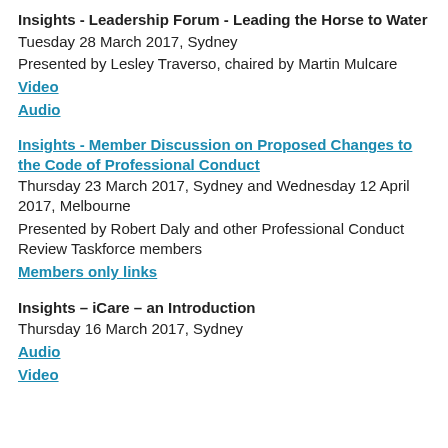Insights - Leadership Forum - Leading the Horse to Water
Tuesday 28 March 2017, Sydney
Presented by Lesley Traverso, chaired by Martin Mulcare
Video
Audio
Insights - Member Discussion on Proposed Changes to the Code of Professional Conduct
Thursday 23 March 2017, Sydney and Wednesday 12 April 2017, Melbourne
Presented by Robert Daly and other Professional Conduct Review Taskforce members
Members only links
Insights – iCare – an Introduction
Thursday 16 March 2017, Sydney
Audio
Video